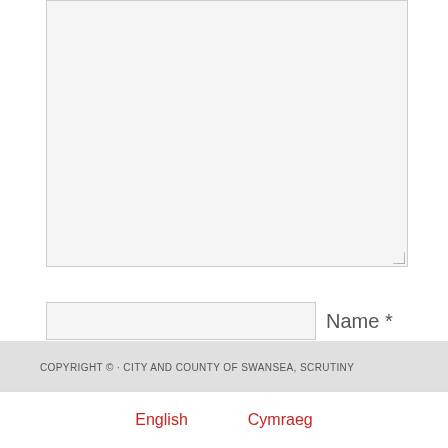[Figure (screenshot): Comment form textarea (large light gray input box) at top of page]
Name *
Email *
Website
Post Comment
This site uses Akismet to reduce spam. Learn how your comment data is processed.
COPYRIGHT © · CITY AND COUNTY OF SWANSEA, SCRUTINY
English   Cymraeg